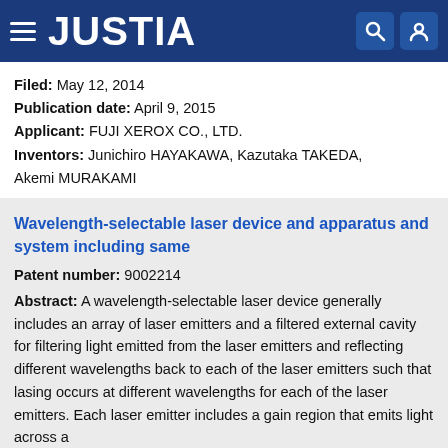JUSTIA
Filed: May 12, 2014
Publication date: April 9, 2015
Applicant: FUJI XEROX CO., LTD.
Inventors: Junichiro HAYAKAWA, Kazutaka TAKEDA, Akemi MURAKAMI
Wavelength-selectable laser device and apparatus and system including same
Patent number: 9002214
Abstract: A wavelength-selectable laser device generally includes an array of laser emitters and a filtered external cavity for filtering light emitted from the laser emitters and reflecting different wavelengths back to each of the laser emitters such that lasing occurs at different wavelengths for each of the laser emitters. Each laser emitter includes a gain region that emits light across a plurality of wavelengths, including for example, wavelength bands